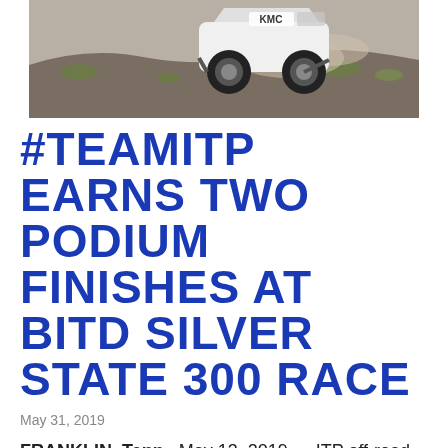[Figure (photo): Off-road UTV/buggy racing vehicle with KMC wheels logo visible, kicking up dust on a desert race course]
#TEAMITP EARNS TWO PODIUM FINISHES AT BITD SILVER STATE 300 RACE
May 31, 2019
FRANKLIN, Tenn., May 13, 2019 — ITP off-road racers, Jacob Carver and Dustin Jones, each earned UTV Pro Turbo class podiums at the 2019 Best In